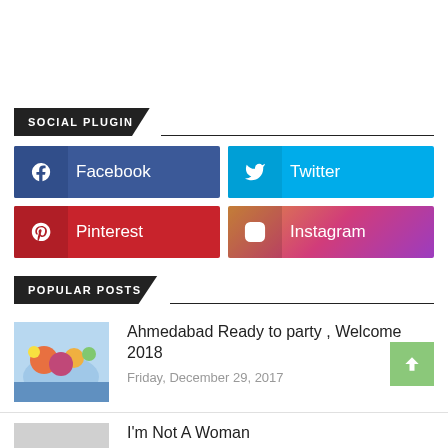SOCIAL PLUGIN
[Figure (infographic): Social media buttons grid: Facebook (blue), Twitter (cyan), Pinterest (red), Instagram (gradient pink/purple)]
POPULAR POSTS
[Figure (illustration): Colorful party illustration thumbnail]
Ahmedabad Ready to party , Welcome 2018
Friday, December 29, 2017
[Figure (photo): Gray thumbnail with speech bubble dots]
I'm Not A Woman
Thursday, August 21, 2014